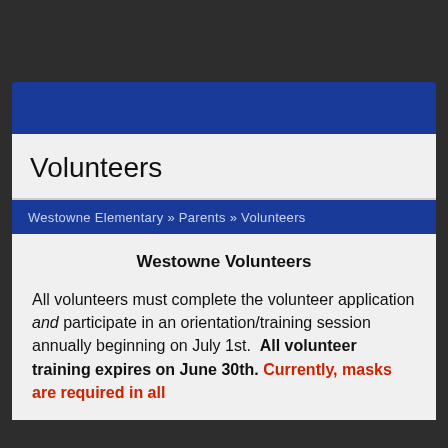Westowne Elementary » Parents » Volunteers
Volunteers
Westowne Elementary » Parents » Volunteers
Westowne Volunteers
All volunteers must complete the volunteer application and participate in an orientation/training session annually beginning on July 1st.  All volunteer training expires on June 30th. Currently, masks are required in all